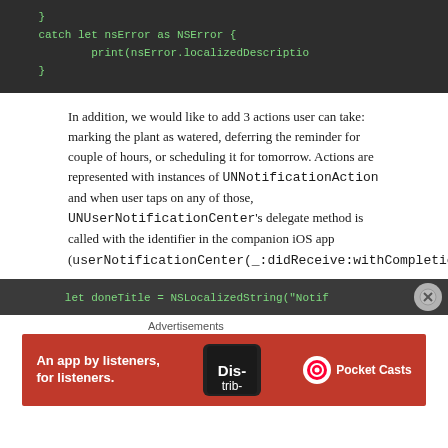[Figure (screenshot): Code snippet on dark background showing: } catch let nsError as NSError { print(nsError.localizedDescriptio... } }]
In addition, we would like to add 3 actions user can take: marking the plant as watered, deferring the reminder for couple of hours, or scheduling it for tomorrow. Actions are represented with instances of UNNotificationAction and when user taps on any of those, UNUserNotificationCenter's delegate method is called with the identifier in the companion iOS app (userNotificationCenter(_:didReceive:withCompletionHandler:)).
[Figure (screenshot): Code snippet on dark background showing: let doneTitle = NSLocalizedString("Notif...]
Advertisements
[Figure (photo): Red banner advertisement for Pocket Casts: 'An app by listeners, for listeners.' with phone image and Pocket Casts logo]